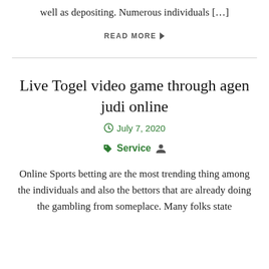well as depositing. Numerous individuals […]
READ MORE
Live Togel video game through agen judi online
July 7, 2020
Service
Online Sports betting are the most trending thing among the individuals and also the bettors that are already doing the gambling from someplace. Many folks state that they have had a fantastic time as far as